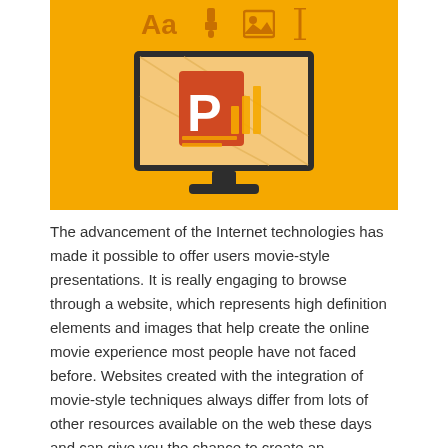[Figure (illustration): Orange/yellow background with PowerPoint-style icons (Aa, brush, image, text cursor) at the top and a monitor displaying a PowerPoint logo in the center.]
The advancement of the Internet technologies has made it possible to offer users movie-style presentations. It is really engaging to browse through a website, which represents high definition elements and images that help create the online movie experience most people have not faced before. Websites created with the integration of movie-style techniques always differ from lots of other resources available on the web these days and can give you the chance to create an outstanding website design.